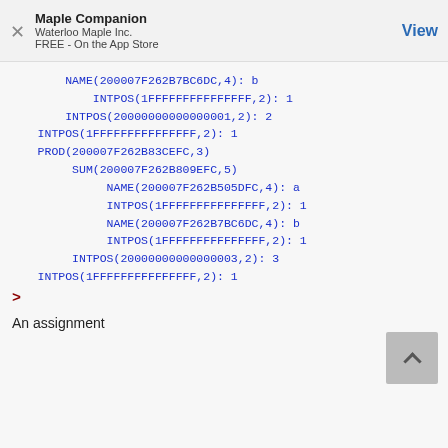Maple Companion
Waterloo Maple Inc.
FREE - On the App Store
NAME(200007F262B7BC6DC,4): b
    INTPOS(1FFFFFFFFFFFFFFF,2): 1
 INTPOS(20000000000000001,2): 2
INTPOS(1FFFFFFFFFFFFFFF,2): 1
PROD(200007F262B83CEFC,3)
   SUM(200007F262B809EFC,5)
       NAME(200007F262B505DFC,4): a
       INTPOS(1FFFFFFFFFFFFFFF,2): 1
       NAME(200007F262B7BC6DC,4): b
       INTPOS(1FFFFFFFFFFFFFFF,2): 1
   INTPOS(20000000000000003,2): 3
INTPOS(1FFFFFFFFFFFFFFF,2): 1
>
An assignment